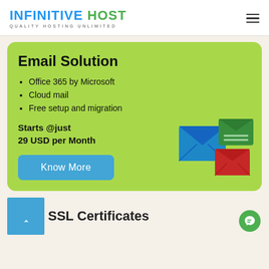[Figure (logo): Infinitive Host logo with tagline QUALITY HOSTING UNLIMITED]
Email Solution
Office 365 by Microsoft
Cloud mail
Free setup and migration
Starts @just
29 USD per Month
[Figure (illustration): Three email envelope icons: large blue envelope, green envelope with lines, red envelope]
SSL Certificates